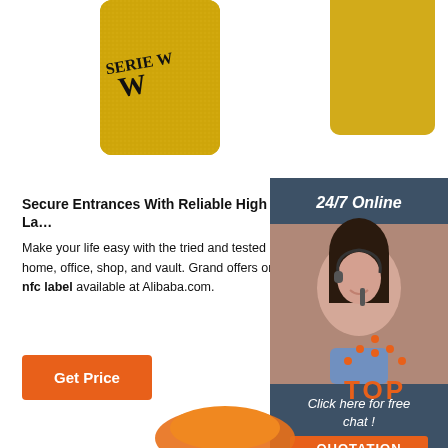[Figure (photo): Two gold glitter wristbands/rings with black text on them, photographed on white background]
Secure Entrances With Reliable High Quality Nfc La…
Make your life easy with the tried and tested high qu… your home, office, shop, and vault. Grand offers on… high quality nfc label available at Alibaba.com.
[Figure (photo): Customer service representative woman wearing headset, smiling, with '24/7 Online' header and 'Click here for free chat!' text and orange QUOTATION button]
Get Price
[Figure (logo): Orange TOP logo with orange dot pattern above the text]
[Figure (photo): Partial view of an orange product at the bottom of the page]